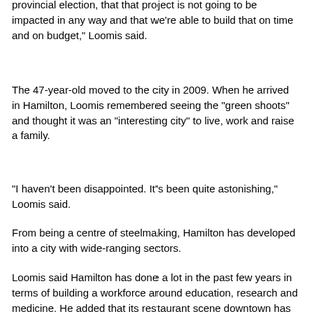provincial election, that that project is not going to be impacted in any way and that we're able to build that on time and on budget," Loomis said.
The 47-year-old moved to the city in 2009. When he arrived in Hamilton, Loomis remembered seeing the "green shoots" and thought it was an "interesting city" to live, work and raise a family.
"I haven't been disappointed. It's been quite astonishing," Loomis said.
From being a centre of steelmaking, Hamilton has developed into a city with wide-ranging sectors.
Loomis said Hamilton has done a lot in the past few years in terms of building a workforce around education, research and medicine. He added that its restaurant scene downtown has also grown.